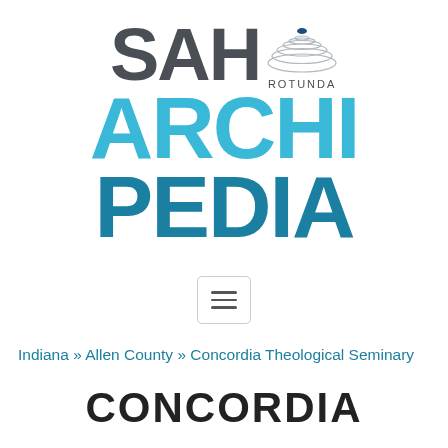[Figure (logo): SAH Rotunda Archipedia logo with rotunda dome icon, 'SAH' in dark gray, 'ROTUNDA' in small caps, 'ARCHI' in light blue, 'PEDIA' in dark teal blue]
[Figure (other): Hamburger menu button (three horizontal lines in a rounded rectangle border)]
Indiana » Allen County » Concordia Theological Seminary
CONCORDIA